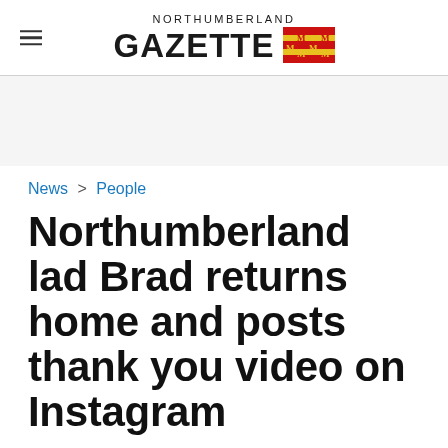NORTHUMBERLAND GAZETTE
News > People
Northumberland lad Brad returns home and posts thank you video on Instagram
Love Island contestant Brad McClelland (26) has broken his social media silence to thank